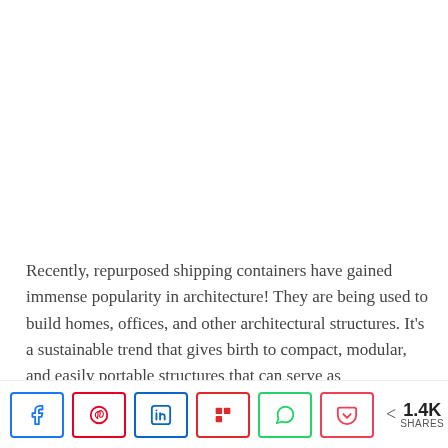Recently, repurposed shipping containers have gained immense popularity in architecture! They are being used to build homes, offices, and other architectural structures. It's a sustainable trend that gives birth to compact, modular, and easily portable structures that can serve as